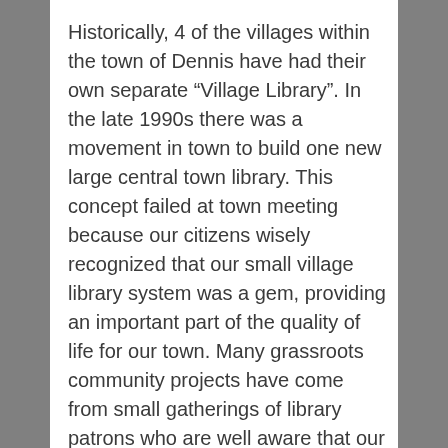Historically, 4 of the villages within the town of Dennis have had their own separate “Village Library”. In the late 1990s there was a movement in town to build one new large central town library. This concept failed at town meeting because our citizens wisely recognized that our small village library system was a gem, providing an important part of the quality of life for our town. Many grassroots community projects have come from small gatherings of library patrons who are well aware that our local village libraries offer much more to our residents than just books. These small libraries are a wonderful place for people to meet and exchange news and information. Instead a fifth "village" library was constructed in Dennisport which is fully